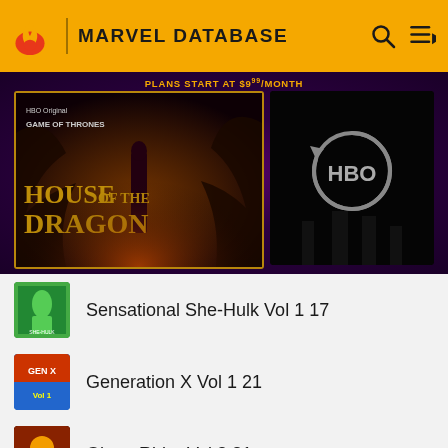MARVEL DATABASE
[Figure (screenshot): Banner ad showing House of the Dragon (Game of Thrones HBO Original) promotional image alongside an HBO logo on dark background. Text: PLANS START AT $9.99/MONTH]
Sensational She-Hulk Vol 1 17
Generation X Vol 1 21
Ghost Rider Vol 3 81
Daydreamers Vol 1 1
Daydreamers Vol 1 2